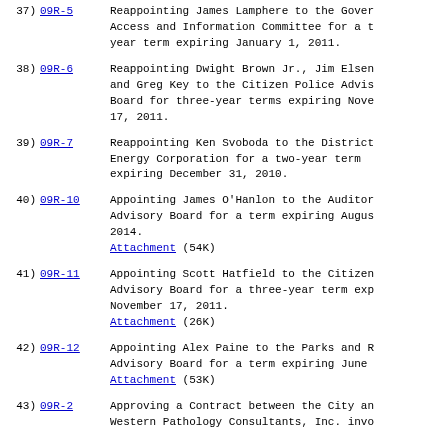37) 09R-5 Reappointing James Lamphere to the Government Access and Information Committee for a two-year term expiring January 1, 2011.
38) 09R-6 Reappointing Dwight Brown Jr., Jim Elsen, and Greg Key to the Citizen Police Advisory Board for three-year terms expiring November 17, 2011.
39) 09R-7 Reappointing Ken Svoboda to the District Energy Corporation for a two-year term expiring December 31, 2010.
40) 09R-10 Appointing James O'Hanlon to the Auditor Advisory Board for a term expiring August 2014. Attachment (54K)
41) 09R-11 Appointing Scott Hatfield to the Citizens Advisory Board for a three-year term expiring November 17, 2011. Attachment (26K)
42) 09R-12 Appointing Alex Paine to the Parks and Recreation Advisory Board for a term expiring June ... Attachment (53K)
43) 09R-2 Approving a Contract between the City and Western Pathology Consultants, Inc. involving...